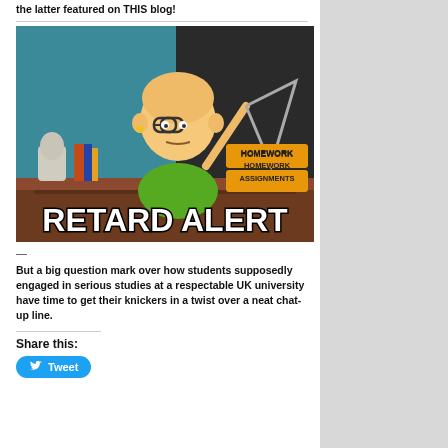the latter featured on THIS blog!
[Figure (illustration): South Park animated character Mr. Garrison sitting at a teacher's desk with a 'HOMEWORK ASSIGNMENTS' sign, holding a triangle pointer. White text overlay reads 'RETARD ALERT'.]
—
But a big question mark over how students supposedly engaged in serious studies at a respectable UK university have time to get their knickers in a twist over a neat chat-up line.
Share this:
Tweet